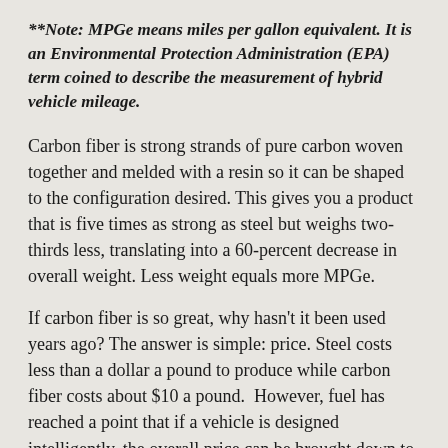**Note: MPGe means miles per gallon equivalent. It is an Environmental Protection Administration (EPA) term coined to describe the measurement of hybrid vehicle mileage.
Carbon fiber is strong strands of pure carbon woven together and melded with a resin so it can be shaped to the configuration desired. This gives you a product that is five times as strong as steel but weighs two-thirds less, translating into a 60-percent decrease in overall weight. Less weight equals more MPGe.
If carbon fiber is so great, why hasn't it been used years ago? The answer is simple: price. Steel costs less than a dollar a pound to produce while carbon fiber costs about $10 a pound.  However, fuel has reached a point that if a vehicle is designed intelligently, the overall price can be brought down to something